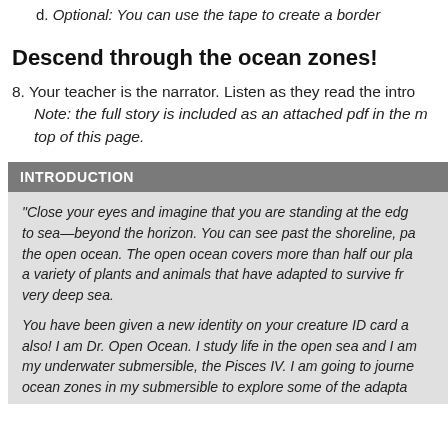d. Optional: You can use the tape to create a border
Descend through the ocean zones!
8. Your teacher is the narrator. Listen as they read the intro. Note: the full story is included as an attached pdf in the module at the top of this page.
INTRODUCTION
"Close your eyes and imagine that you are standing at the edge of the sea—beyond the horizon. You can see past the shoreline, past the open ocean. The open ocean covers more than half our planet and is home to a variety of plants and animals that have adapted to survive from the surface to the very deep sea.
You have been given a new identity on your creature ID card and I have one also! I am Dr. Open Ocean. I study life in the open sea and I am the captain of my underwater submersible, the Pisces IV. I am going to journey through the ocean zones in my submersible to explore some of the adapta...